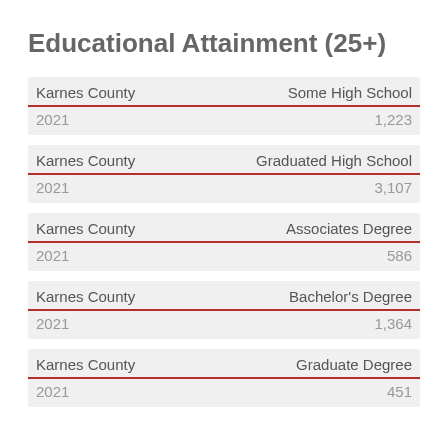Educational Attainment (25+)
| Karnes County | Some High School |
| --- | --- |
| 2021 | 1,223 |
| Karnes County | Graduated High School |
| --- | --- |
| 2021 | 3,107 |
| Karnes County | Associates Degree |
| --- | --- |
| 2021 | 586 |
| Karnes County | Bachelor's Degree |
| --- | --- |
| 2021 | 1,364 |
| Karnes County | Graduate Degree |
| --- | --- |
| 2021 | 451 |